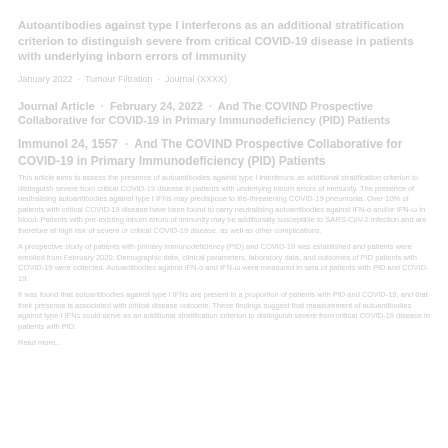Autoantibodies against type I interferons as an additional stratification criterion to distinguish severe from critical COVID-19 disease in patients with underlying inborn errors of immunity
January 2022 · Tumour Filtration · Journal (XXXX)
Journal Article · February 24, 2022 · And The COVIND Prospective Collaborative for COVID-19 in Primary Immunodeficiency (PID) Patients
This article aims to assess the presence of autoantibodies against type I interferons as additional stratification criterion to distinguish severe from critical COVID-19 disease in patients with underlying inborn errors of immunity. The presence of neutralising autoantibodies against type I IFNs may predispose to life-threatening COVID-19 pneumonia. Over 10% of patients with critical COVID-19 disease have been found to carry neutralising autoantibodies against IFN-α and/or IFN-ω in blood. Patients with pre-existing inborn errors of immunity may be additionally susceptible to SARS-CoV-2 infection and are therefore at high risk of severe or critical COVID-19 disease, as well as other complications.
A prospective study of patients with primary immunodeficiency (PID) and COVID-19 was established and patients were enrolled from February 2020. Demographic data, clinical parameters, laboratory data, and outcomes of PID patients with COVID-19 were collected. Autoantibodies against IFN-α and IFN-ω were measured in sera of patients with PID and COVID-19.
It was found that autoantibodies against type I IFNs are present in a proportion of patients with PID and COVID-19, and that their presence is associated with critical disease outcome. These findings suggest that measurement of autoantibodies against type I IFNs could serve as an additional stratification criterion to distinguish severe from critical COVID-19 disease in patients with PID.
Read more...